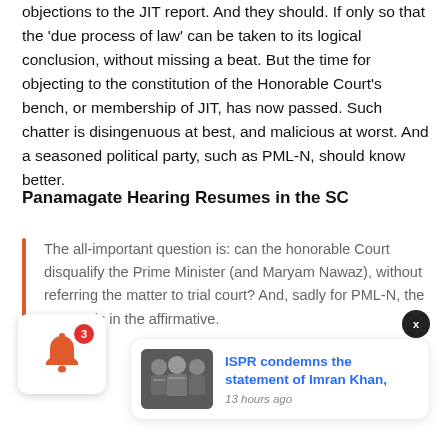objections to the JIT report. And they should. If only so that the 'due process of law' can be taken to its logical conclusion, without missing a beat. But the time for objecting to the constitution of the Honorable Court's bench, or membership of JIT, has now passed. Such chatter is disingenuous at best, and malicious at worst. And a seasoned political party, such as PML-N, should know better.
Panamagate Hearing Resumes in the SC
The all-important question is: can the honorable Court disqualify the Prime Minister (and Maryam Nawaz), without referring the matter to trial court? And, sadly for PML-N, the answer is in the affirmative.
[Figure (screenshot): News notification card showing image of military officials with Imran Khan, headline 'ISPR condemns the statement of Imran Khan,' and timestamp '13 hours ago'. Also shows notification bell with badge count 3 and a close button.]